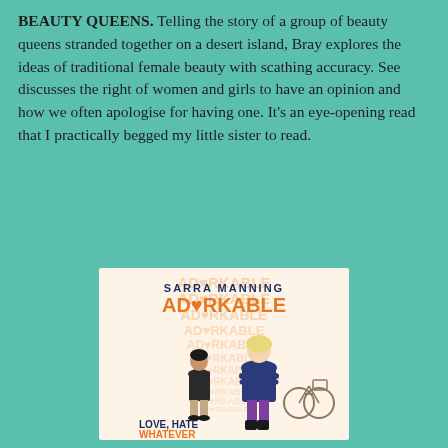BEAUTY QUEENS. Telling the story of a group of beauty queens stranded together on a desert island, Bray explores the ideas of traditional female beauty with scathing accuracy. See discusses the right of women and girls to have an opinion and how we often apologise for having one. It's an eye-opening read that I practically begged my little sister to read.
[Figure (photo): Book cover of 'Adorkable' by Sarra Manning. The cover has a repeating peach/light orange watermark text 'ADORKABLE' across the background. At the top in dark navy bold text is 'SARRA MANNING', below that in large orange bold text is 'ADORKABLE' with a heart replacing the 'O'. The cover shows a girl in a navy blue dress with purple tights and black boots standing with her arms crossed, and a boy standing to her left with his back turned. A bicycle is shown on the right side. At the bottom it reads 'LOVE, HATE' in dark navy and 'WHATEVER' in orange.]